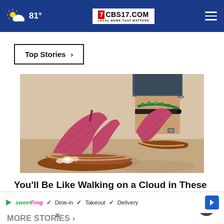81° | CBS17.COM LOCAL NEWS THAT MATTERS
Top Stories ›
[Figure (photo): Close-up photo of a person wearing pink/red embossed platform thong sandals with an ankle strap and green bead anklet]
You'll Be Like Walking on a Cloud in These Sandals - Now 50% Off!
Ad by Sursell
✓ Dine-in  ✓ Takeout  ✓ Delivery
MORE STORIES ›